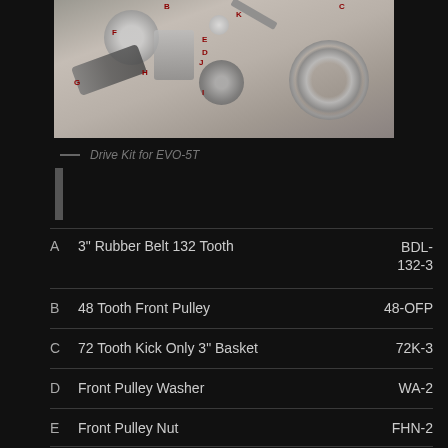[Figure (photo): Exploded view of motorcycle primary drive kit components labeled A through K, including rubber belt, front pulley, basket, washer, nut, pressure plate and other parts on a light gray background.]
Drive Kit for EVO-5T
|  | Description | Part No. |
| --- | --- | --- |
| A | 3" Rubber Belt 132 Tooth | BDL-132-3 |
| B | 48 Tooth Front Pulley | 48-OFP |
| C | 72 Tooth Kick Only 3" Basket | 72K-3 |
| D | Front Pulley Washer | WA-2 |
| E | Front Pulley Nut | FHN-2 |
| F | Pressure Plate | EPP-100 |